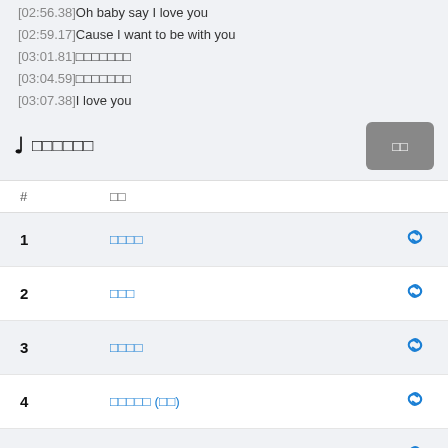[02:56.38]Oh baby say I love you
[02:59.17]Cause I want to be with you
[03:01.81]□□□□□□□
[03:04.59]□□□□□□□
[03:07.38]I love you
♩ □□□□□□
| # | □□ |
| --- | --- |
| 1 | □□□□ | 🔗 |
| 2 | □□□ | 🔗 |
| 3 | □□□□ | 🔗 |
| 4 | □□□□□ (□□) | 🔗 |
| 5 | □□□□□□□ | 🔗 |
| 6 | □□□□ | 🔗 |